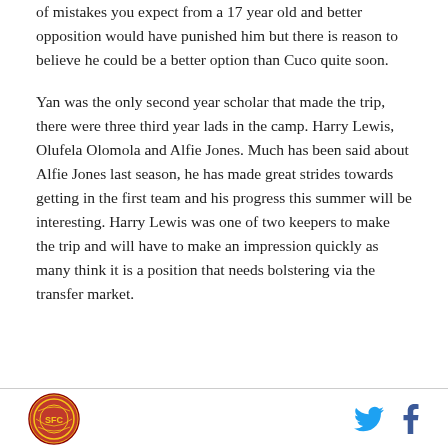of mistakes you expect from a 17 year old and better opposition would have punished him but there is reason to believe he could be a better option than Cuco quite soon.

Yan was the only second year scholar that made the trip, there were three third year lads in the camp. Harry Lewis, Olufela Olomola and Alfie Jones. Much has been said about Alfie Jones last season, he has made great strides towards getting in the first team and his progress this summer will be interesting. Harry Lewis was one of two keepers to make the trip and will have to make an impression quickly as many think it is a position that needs bolstering via the transfer market.
Logo | Twitter | Facebook